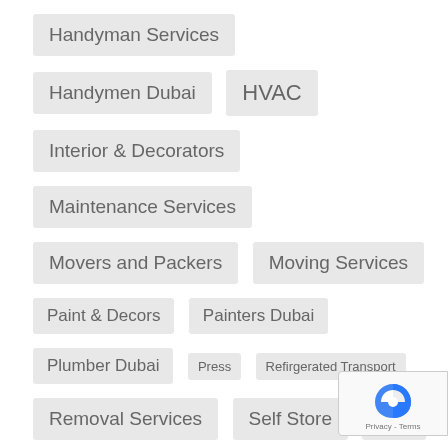Handyman Services
Handymen Dubai
HVAC
Interior & Decorators
Maintenance Services
Movers and Packers
Moving Services
Paint & Decors
Painters Dubai
Plumber Dubai
Press
Refirgerated Transport
Removal Services
Self Store
stor